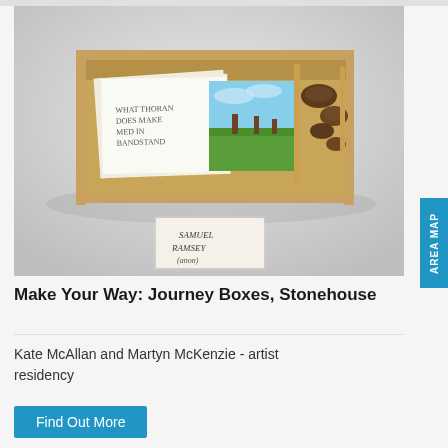[Figure (photo): A wooden box mounted on a white wall, containing papers, drawings, pine cones, and other objects. A handwritten label below reads 'Samuel Ramsey (anon)'. Inside the box are handwritten notes and a coloured drawing of a landscape.]
Make Your Way: Journey Boxes, Stonehouse
Kate McAllan and Martyn McKenzie - artist residency
Find Out More